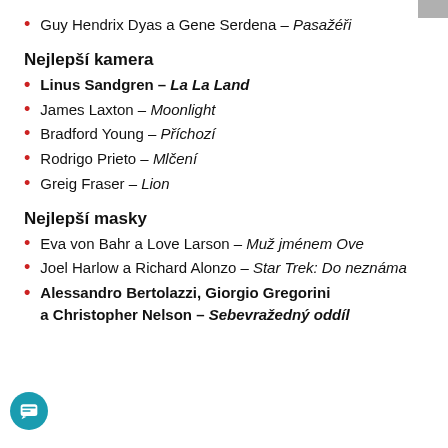Guy Hendrix Dyas a Gene Serdena – Pasažéři
Nejlepší kamera
Linus Sandgren – La La Land
James Laxton – Moonlight
Bradford Young – Příchozí
Rodrigo Prieto – Mlčení
Greig Fraser – Lion
Nejlepší masky
Eva von Bahr a Love Larson – Muž jménem Ove
Joel Harlow a Richard Alonzo – Star Trek: Do neznáma
Alessandro Bertolazzi, Giorgio Gregorini a Christopher Nelson – Sebevražedný oddíl